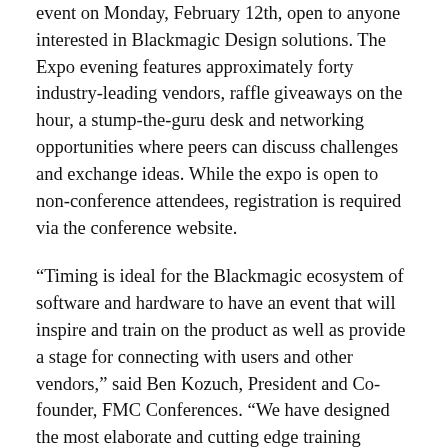event on Monday, February 12th, open to anyone interested in Blackmagic Design solutions. The Expo evening features approximately forty industry-leading vendors, raffle giveaways on the hour, a stump-the-guru desk and networking opportunities where peers can discuss challenges and exchange ideas. While the expo is open to non-conference attendees, registration is required via the conference website.
“Timing is ideal for the Blackmagic ecosystem of software and hardware to have an event that will inspire and train on the product as well as provide a stage for connecting with users and other vendors,” said Ben Kozuch, President and Co-founder, FMC Conferences. “We have designed the most elaborate and cutting edge training program where users of all levels may benefit from learning from the world’s gurus.”
The cost for this conference starts at $475 (for basic registration) or $675 when including the pre-conference, warm-up sessions, that run the full day of February 11th,